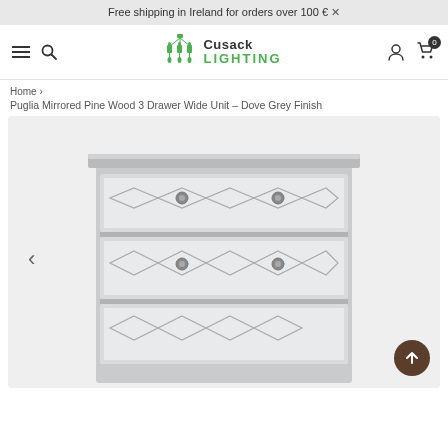Free shipping in Ireland for orders over 100 € ×
[Figure (logo): Cusack Lighting logo with chandelier icon and green LIGHTING text]
Home › Puglia Mirrored Pine Wood 3 Drawer Wide Unit – Dove Grey Finish
[Figure (photo): Puglia Mirrored Pine Wood 3 Drawer Wide Unit in Dove Grey Finish — a chest of drawers with mirrored diamond lattice pattern front panels and round silver knobs]